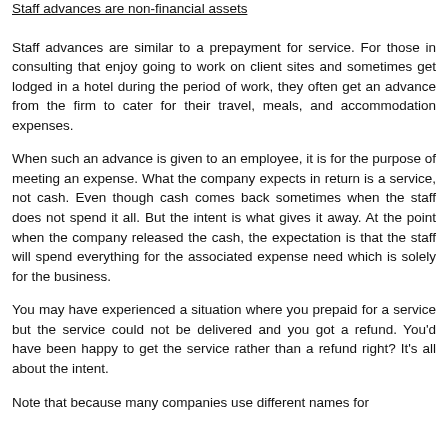Staff advances are non-financial assets
Staff advances are similar to a prepayment for service. For those in consulting that enjoy going to work on client sites and sometimes get lodged in a hotel during the period of work, they often get an advance from the firm to cater for their travel, meals, and accommodation expenses.
When such an advance is given to an employee, it is for the purpose of meeting an expense. What the company expects in return is a service, not cash. Even though cash comes back sometimes when the staff does not spend it all. But the intent is what gives it away. At the point when the company released the cash, the expectation is that the staff will spend everything for the associated expense need which is solely for the business.
You may have experienced a situation where you prepaid for a service but the service could not be delivered and you got a refund. You'd have been happy to get the service rather than a refund right? It's all about the intent.
Note that because many companies use different names for